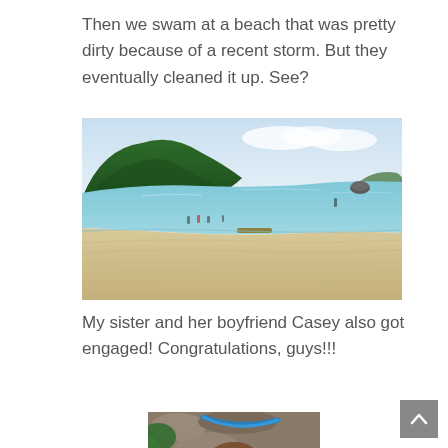Then we swam at a beach that was pretty dirty because of a recent storm. But they eventually cleaned it up. See?
[Figure (photo): A clean sandy beach with clear turquoise water, green forested hills in the background, a few people visible near the water's edge, and a rock formation in the sea.]
My sister and her boyfriend Casey also got engaged! Congratulations, guys!!!
[Figure (photo): Partial view of a person's face from above, with blue object visible, surrounded by rocks and green foliage.]